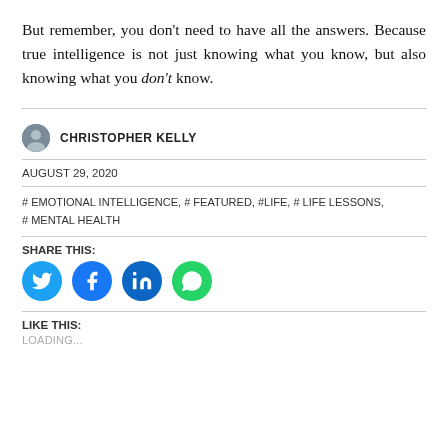But remember, you don't need to have all the answers. Because true intelligence is not just knowing what you know, but also knowing what you don't know.
CHRISTOPHER KELLY
AUGUST 29, 2020
# EMOTIONAL INTELLIGENCE, # FEATURED, #LIFE, # LIFE LESSONS, # MENTAL HEALTH
SHARE THIS:
[Figure (infographic): Four social media share buttons: Twitter (blue bird), Facebook (blue f), LinkedIn (blue in), WhatsApp (green phone)]
LIKE THIS:
LOADING...